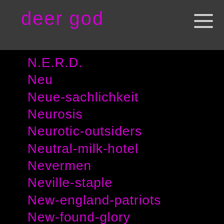deer god
N.E.R.D.
Neu
Neue-sachlichkeit
Neurosis
Neurotic-outsiders
Neutral-milk-hotel
Nevermen
Neville-staple
New-england-patriots
New-found-glory
New-jersey
Neworder
New-order
Neworleans
New-orleans
New-queer-cinema